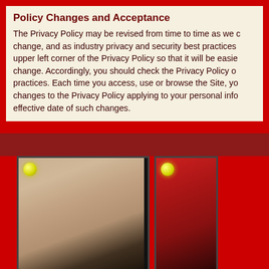Policy Changes and Acceptance
The Privacy Policy may be revised from time to time as we change, and as industry privacy and security best practices upper left corner of the Privacy Policy so that it will be easier change. Accordingly, you should check the Privacy Policy our practices. Each time you access, use or browse the Site, you changes to the Privacy Policy applying to your personal information effective date of such changes.
[Figure (photo): Thumbnail photo of a person labeled AlesiaCaridiTS with a yellow online indicator dot in the upper left corner of the thumbnail]
AlesiaCaridiTS
[Figure (photo): Partial thumbnail of a second person on a red background with a yellow online indicator dot, partially cropped at the right edge of the page]